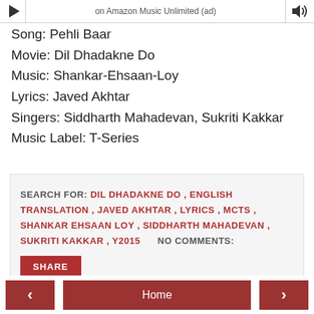on Amazon Music Unlimited (ad)
Song: Pehli Baar
Movie: Dil Dhadakne Do
Music: Shankar-Ehsaan-Loy
Lyrics: Javed Akhtar
Singers: Siddharth Mahadevan, Sukriti Kakkar
Music Label: T-Series
SEARCH FOR: DIL DHADAKNE DO , ENGLISH TRANSLATION , JAVED AKHTAR , LYRICS , MCTS , SHANKAR EHSAAN LOY , SIDDHARTH MAHADEVAN , SUKRITI KAKKAR , Y2015     NO COMMENTS:
SHARE
< Home >